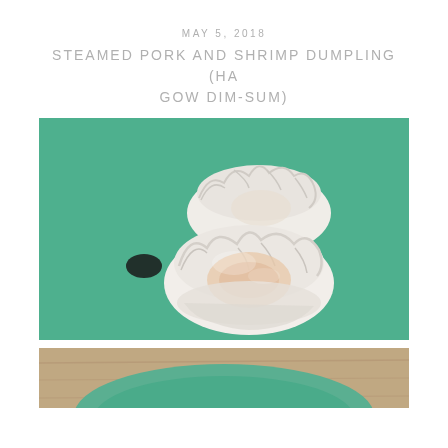MAY 5, 2018
STEAMED PORK AND SHRIMP DUMPLING (HA GOW DIM-SUM)
[Figure (photo): Close-up photo of steamed pork and shrimp dumplings (ha gow) on a green plate with a dark sauce spot visible, showing translucent white dumpling wrappers with pleated tops and pink shrimp filling visible through the wrapper]
[Figure (photo): Partial view of another food photo at the bottom of the page, showing what appears to be a green plate on a wooden surface]